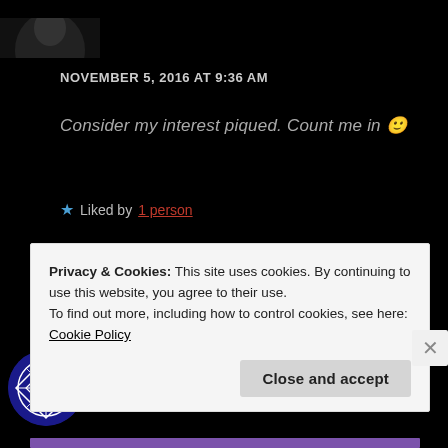[Figure (photo): Dark avatar image of a person at top left]
NOVEMBER 5, 2016 AT 9:36 AM
Consider my interest piqued. Count me in 🙂
★ Liked by 1 person
REPLY
[Figure (photo): Circular avatar with blue and white diamond/cross geometric pattern]
Rebekah Teller
Privacy & Cookies: This site uses cookies. By continuing to use this website, you agree to their use.
To find out more, including how to control cookies, see here: Cookie Policy
Close and accept